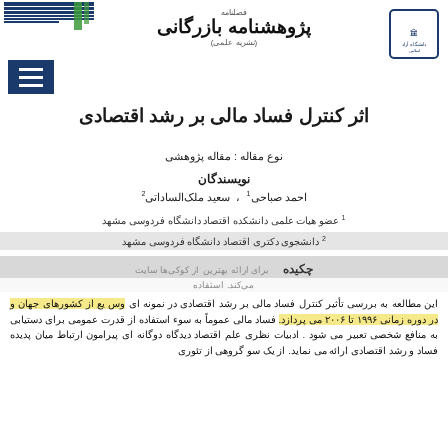فصلنامه پژوهشنامه بازرگانی (نشریه علمی)
[Figure (logo): Journal header with decorative lines (blue and green stripes) on the left, Persian journal title in center, and institutional logo on the right]
[Figure (logo): Hamburger menu icon in dark blue square on the left side]
اثر کنترل فساد مالی بر رشد اقتصادی
نوع مقاله : مقاله پژوهشی
نویسندگان
احمد صباحی ¹ ، سعید ملک‌الساداتی ²
¹ عضو هیات علمی دانشکده اقتصاد دانشگاه فردوسی مشهد
² دانشجوی دکتری اقتصاد دانشگاه فردوسی مشهد
چکیده
این مطالعه به بررسی تأثیر کنترل فساد مالی بر رشد اقتصادی در نمونه ای وس یع از کشورهای جهان و در دوره زمانی ۱۹۹۶ تا ۲۰۰۶ می پردازد. فساد مالی عموماً به سو‌ء استفاده از قدرت عمومی برای دستیابی به منافع شخصی تعبیر می شود . ادبیات نظری علم اقتصاد دیدگاه دوگانه ای پیرامون ارتباط میان پدیده فساد و رشد اقتصادی ارائه می نماید. از یک سو گروهی از تئوری